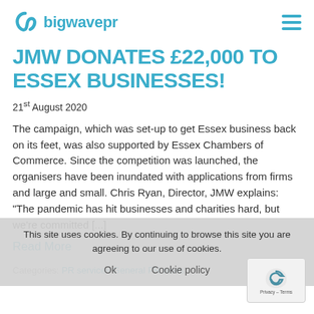bigwavepr
JMW DONATES £22,000 TO ESSEX BUSINESSES!
21st August 2020
The campaign, which was set-up to get Essex business back on its feet, was also supported by Essex Chambers of Commerce. Since the competition was launched, the organisers have been inundated with applications from firms and large and small. Chris Ryan, Director, JMW explains: "The pandemic has hit businesses and charities hard, but we're committed [...]
Read More
Categories: PR services General PR news
This site uses cookies. By continuing to browse this site you are agreeing to our use of cookies. Ok Cookie policy